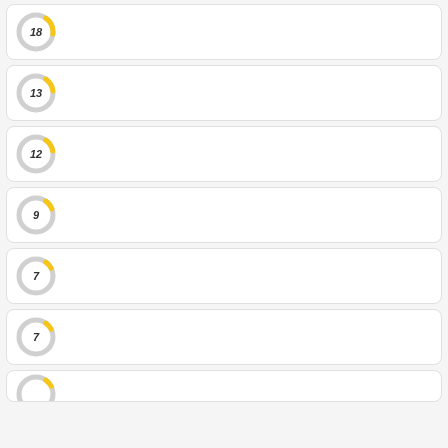[Figure (donut-chart): Donut chart showing value 18 with small yellow arc]
[Figure (donut-chart): Donut chart showing value 13 with small yellow arc]
[Figure (donut-chart): Donut chart showing value 12 with small yellow arc]
[Figure (donut-chart): Donut chart showing value 9 with small yellow arc]
[Figure (donut-chart): Donut chart showing value 7 with small yellow arc]
[Figure (donut-chart): Donut chart showing value 7 with small yellow arc]
[Figure (donut-chart): Partial donut chart visible at bottom, partially cropped]